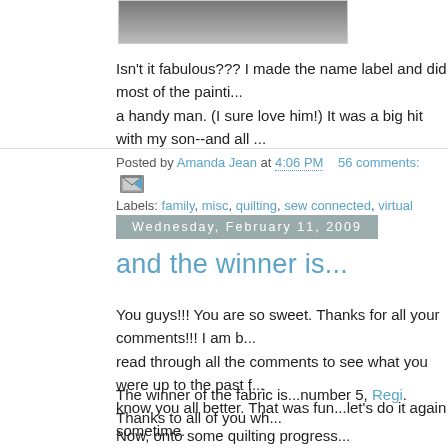[Figure (photo): Partial photo of a painted object with a dark element visible at top]
Isn't it fabulous??? I made the name label and did most of the painti... a handy man. (I sure love him!) It was a big hit with my son--and all ...
Posted by Amanda Jean at 4:06 PM   56 comments:
Labels: family, misc, quilting, sew connected, virtual quilting bee
Wednesday, February 11, 2009
and the winner is...
You guys!!! You are so sweet. Thanks for all your comments!!! I am b... read through all the comments to see what you were up to the past f... know you all better. That was fun...let's do it again sometime.
The winner of the fabric is...number 5, Regi. Thanks to all of you wh...
Now, onto some quilting progress...